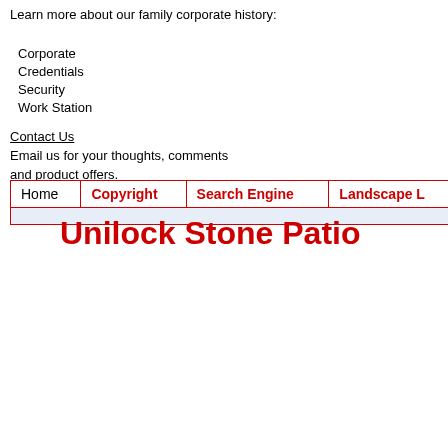Learn more about our family corporate history:
Corporate
Credentials
Security
Work Station
Contact Us
Email us for your thoughts, comments and product offers.
| Home | Copyright | Search Engine | Landscape ... |
| --- | --- | --- | --- |
Unilock Stone Patio